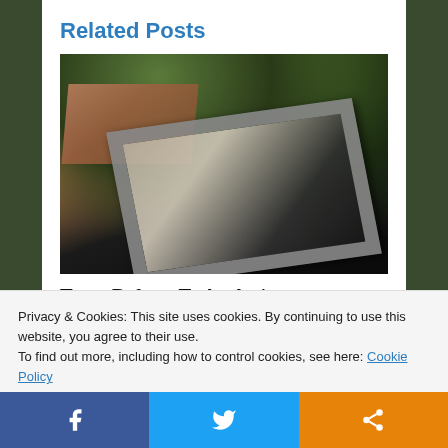Related Posts
[Figure (photo): Dark photo of a window being opened, showing brick wall outside and dark interior car or room surface]
Tracy Refuses To Apologize
JANUARY 10, 2012
Privacy & Cookies: This site uses cookies. By continuing to use this website, you agree to their use.
To find out more, including how to control cookies, see here: Cookie Policy
Close and accept
[Figure (infographic): Bottom social sharing bar with Facebook, Twitter, and share buttons]